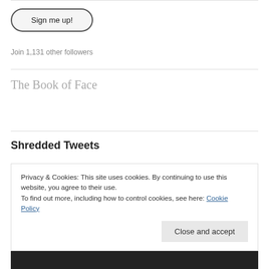Sign me up!
Join 1,131 other followers
The Book of Face
Shredded Tweets
Privacy & Cookies: This site uses cookies. By continuing to use this website, you agree to their use.
To find out more, including how to control cookies, see here: Cookie Policy
Close and accept